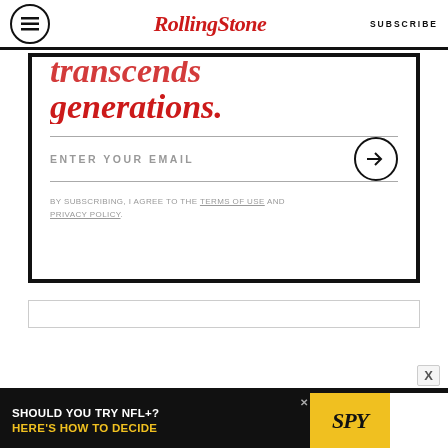RollingStone — SUBSCRIBE
transcends generations.
ENTER YOUR EMAIL
BY SUBSCRIBING, I AGREE TO THE TERMS OF USE AND PRIVACY POLICY.
[Figure (other): Advertisement placeholder rectangle]
[Figure (other): Advertisement banner: SHOULD YOU TRY NFL+? HERE'S HOW TO DECIDE — SPY logo]